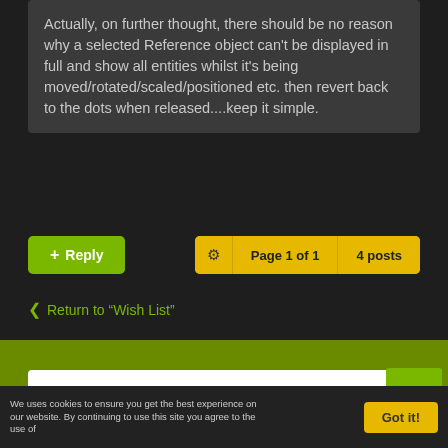Actually, on further thought, there should be no reason why a selected Reference object can't be displayed in full and show all entities whilst it's being moved/rotated/scaled/positioned etc. then revert back to the dots when released....keep it simple.
+ Reply
Page 1 of 1   4 posts
< Return to “Wish List”
MAXWELL RENDER V5 SERIES
We uses cookies to ensure you get the best experience on our website. By continuing to use this site you agree to the use of
Got it!